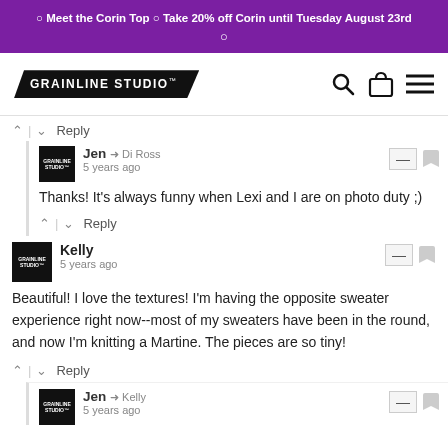☉ Meet the Corin Top ☉ Take 20% off Corin until Tuesday August 23rd ☉
[Figure (logo): Grainline Studio logo in black arrow/chevron shape with white text, plus search, cart, and menu icons]
^ | v Reply
Jen → Di Ross
5 years ago
Thanks! It's always funny when Lexi and I are on photo duty ;)
^ | v Reply
Kelly
5 years ago
Beautiful! I love the textures! I'm having the opposite sweater experience right now--most of my sweaters have been in the round, and now I'm knitting a Martine. The pieces are so tiny!
^ | v Reply
Jen → Kelly
5 years ago